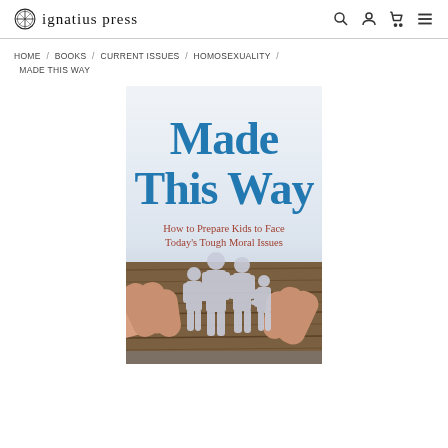Ignatius Press
HOME / BOOKS / CURRENT ISSUES / HOMOSEXUALITY / MADE THIS WAY
[Figure (illustration): Book cover for 'Made This Way: How to Prepare Kids to Face Today's Tough Moral Issues' published by Ignatius Press. Features large blue serif text title on white background upper half, with subtitle in brown/rust italic text, and lower half showing silhouettes of a family (two adults and two children) cut from paper standing on a wooden surface, held between two hands.]